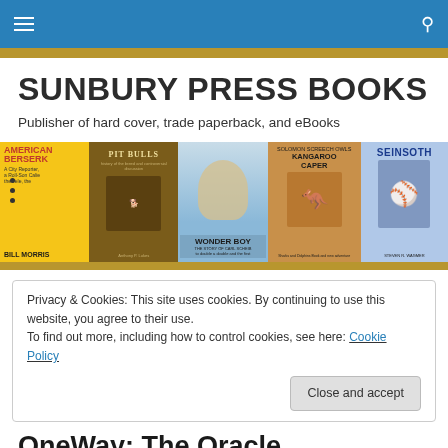SUNBURY PRESS BOOKS navigation bar
SUNBURY PRESS BOOKS
Publisher of hard cover, trade paperback, and eBooks
[Figure (photo): Strip of five book covers: American Berserk by Bill Morris, Pit Bulls, Wonder Boy The Story of Carl Scheib, Solomon Screech Owls Kangaroo Caper, Seinsoth by Steven R. Wagner]
Privacy & Cookies: This site uses cookies. By continuing to use this website, you agree to their use.
To find out more, including how to control cookies, see here: Cookie Policy
OneWay: The Oracle